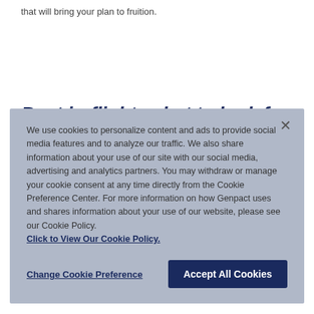that will bring your plan to fruition.
Post in-flight: what to look for
We use cookies to personalize content and ads to provide social media features and to analyze our traffic. We also share information about your use of our site with our social media, advertising and analytics partners. You may withdraw or manage your cookie consent at any time directly from the Cookie Preference Center. For more information on how Genpact uses and shares information about your use of our website, please see our Cookie Policy. Click to View Our Cookie Policy.
Change Cookie Preference
Accept All Cookies